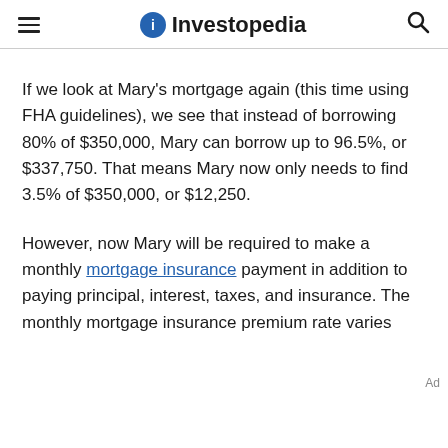Investopedia
If we look at Mary's mortgage again (this time using FHA guidelines), we see that instead of borrowing 80% of $350,000, Mary can borrow up to 96.5%, or $337,750. That means Mary now only needs to find 3.5% of $350,000, or $12,250.
However, now Mary will be required to make a monthly mortgage insurance payment in addition to paying principal, interest, taxes, and insurance. The monthly mortgage insurance premium rate varies